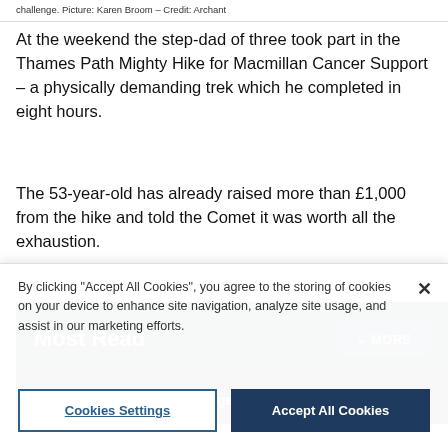challenge. Picture: Karen Broom – Credit: Archant
At the weekend the step-dad of three took part in the Thames Path Mighty Hike for Macmillan Cancer Support – a physically demanding trek which he completed in eight hours.
The 53-year-old has already raised more than £1,000 from the hike and told the Comet it was worth all the exhaustion.
Most Read
Woman twice 'asked to get in stranger's car' in
By clicking "Accept All Cookies", you agree to the storing of cookies on your device to enhance site navigation, analyze site usage, and assist in our marketing efforts.
Cookies Settings
Accept All Cookies